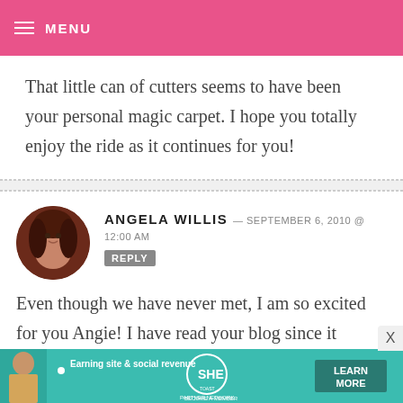MENU
That little can of cutters seems to have been your personal magic carpet. I hope you totally enjoy the ride as it continues for you!
ANGELA WILLIS — SEPTEMBER 6, 2010 @ 12:00 AM REPLY
Even though we have never met, I am so excited for you Angie! I have read your blog since it began, and I know
[Figure (other): SHE Partner Network advertisement banner at bottom of page]